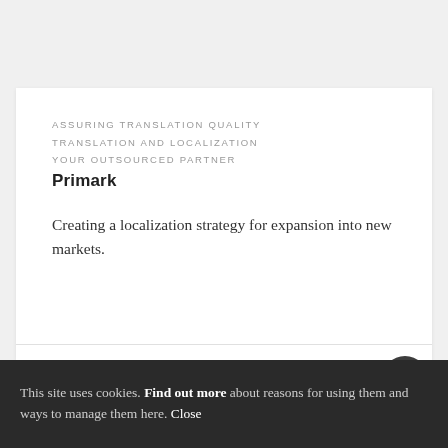ASSURING TRANSLATION QUALITY
TRANSLATION AND LOCALIZATION
YOUR OUTSOURCED PARTNER
Primark
Creating a localization strategy for expansion into new markets.
READ MORE
This site uses cookies. Find out more about reasons for using them and ways to manage them here. Close